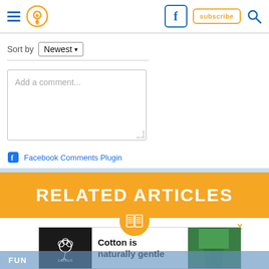Navigation header with menu, location, Facebook, subscribe, search icons
Sort by Newest
[Figure (screenshot): Comment text area with placeholder 'Add a comment...']
Facebook Comments Plugin
RELATED ARTICLES
[Figure (infographic): Cotton is naturally gentle advertisement banner with cotton logo and green pants image]
FUN